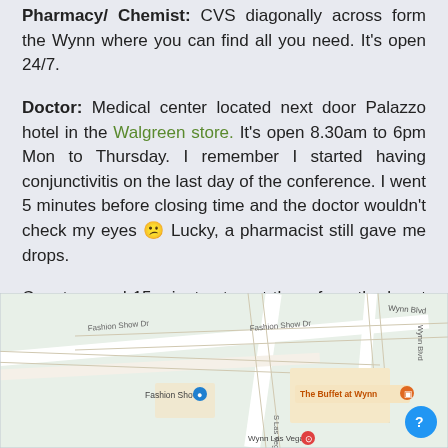Pharmacy/ Chemist: CVS diagonally across form the Wynn where you can find all you need. It's open 24/7.
Doctor: Medical center located next door Palazzo hotel in the Walgreen store. It's open 8.30am to 6pm Mon to Thursday. I remember I started having conjunctivitis on the last day of the conference. I went 5 minutes before closing time and the doctor wouldn't check my eyes 😕 Lucky, a pharmacist still gave me drops.
Count a good 15 minutes to get there from the heart of the conference.
[Figure (map): Google Maps screenshot showing the area near Wynn Las Vegas, including Fashion Show Dr, S Las Vegas Blvd, Encore, Wynn Blvd, XS Las Vegas, The Buffet at Wynn, Fashion Show, and Wynn Las Vegas locations.]